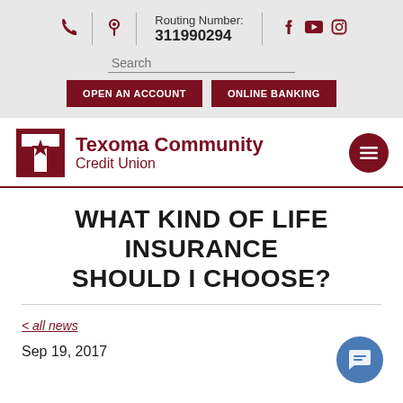Routing Number: 311990294 | OPEN AN ACCOUNT | ONLINE BANKING | Search
[Figure (logo): Texoma Community Credit Union logo with T-star mark and hamburger menu circle]
WHAT KIND OF LIFE INSURANCE SHOULD I CHOOSE?
< all news
Sep 19, 2017